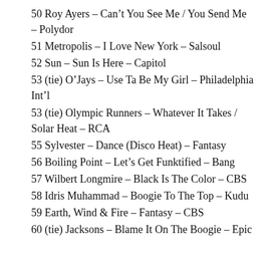50 Roy Ayers – Can't You See Me / You Send Me – Polydor
51 Metropolis – I Love New York – Salsoul
52 Sun – Sun Is Here – Capitol
53 (tie) O'Jays – Use Ta Be My Girl – Philadelphia Int'l
53 (tie) Olympic Runners – Whatever It Takes / Solar Heat – RCA
55 Sylvester – Dance (Disco Heat) – Fantasy
56 Boiling Point – Let's Get Funktified – Bang
57 Wilbert Longmire – Black Is The Color – CBS
58 Idris Muhammad – Boogie To The Top – Kudu
59 Earth, Wind & Fire – Fantasy – CBS
60 (tie) Jacksons – Blame It On The Boogie – Epic